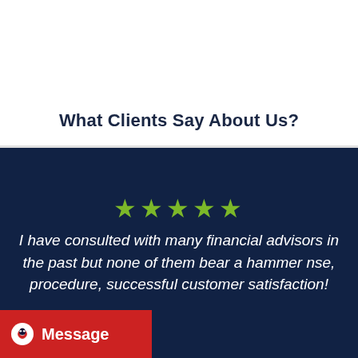What Clients Say About Us?
★★★★★
I have consulted with many financial advisors in the past but none of them bear a hammer nse, procedure, successful customer satisfaction!
[Figure (other): Red chat/message button with alien icon and 'Message' label in bottom-left corner]